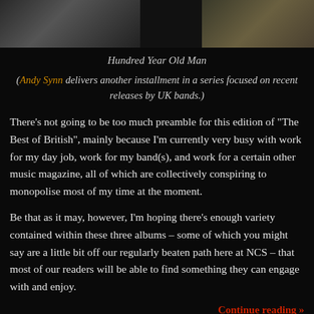[Figure (photo): Black and white photo strip showing partial figures against dark background]
Hundred Year Old Man
(Andy Synn delivers another installment in a series focused on recent releases by UK bands.)
There’s not going to be too much preamble for this edition of “The Best of British”, mainly because I’m currently very busy with work for my day job, work for my band(s), and work for a certain other music magazine, all of which are collectively conspiring to monopolise most of my time at the moment.
Be that as it may, however, I’m hoping there’s enough variety contained within these three albums – some of which you might say are a little bit off our regularly beaten path here at NCS – that most of our readers will be able to find something they can engage with and enjoy.
Continue reading »